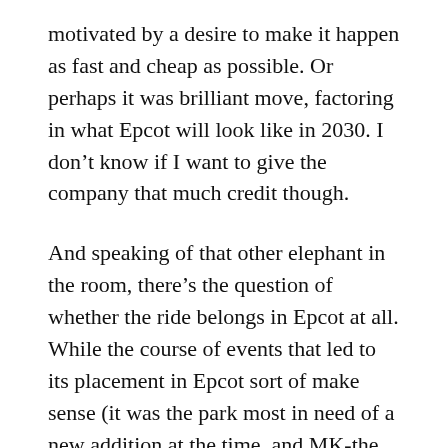motivated by a desire to make it happen as fast and cheap as possible. Or perhaps it was brilliant move, factoring in what Epcot will look like in 2030. I don’t know if I want to give the company that much credit though.
And speaking of that other elephant in the room, there’s the question of whether the ride belongs in Epcot at all. While the course of events that led to its placement in Epcot sort of make sense (it was the park most in need of a new addition at the time, and MK‑the logical choice, needs an attendance boost like Joe Rohde needs a bigger earring.) from a creative standpoint it’s definitely problematic. I honestly don’t know where I stand.